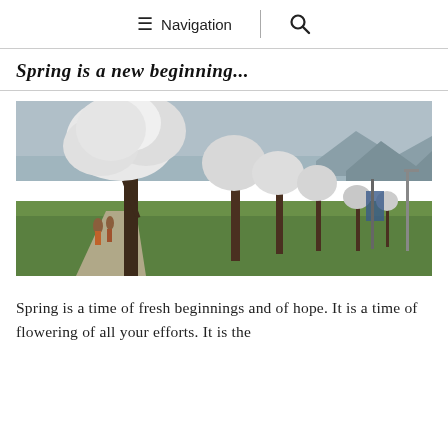≡ Navigation | 🔍
Spring is a new beginning...
[Figure (photo): A row of spring cherry/apple blossom trees with white flowers along a road, green grass lawn, two people walking on a path, mountains and overcast sky in the background.]
Spring is a time of fresh beginnings and of hope. It is a time of flowering of all your efforts. It is the